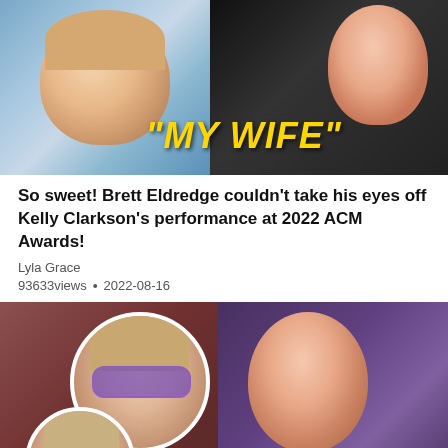[Figure (photo): Composite photo: smiling man (Brett Eldredge) on left, woman singing into microphone (Kelly Clarkson) on right with bold yellow italic text overlay reading "MY WIFE"]
So sweet! Brett Eldredge couldn't take his eyes off Kelly Clarkson's performance at 2022 ACM Awards!
Lyla Grace
93633views • 2022-08-16
[Figure (photo): Photo of Kelly Clarkson smiling, wearing a floral dress, with two circular inset photos: a young girl wearing purple sunglasses, and a young boy wearing dark sunglasses]